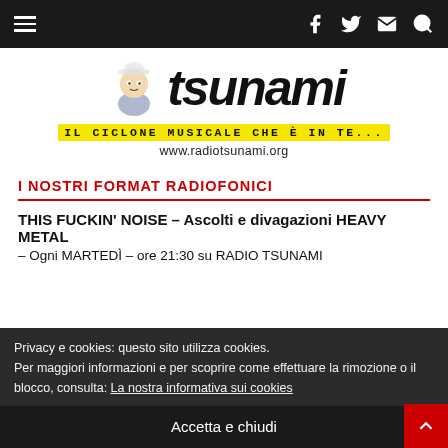Navigation bar with hamburger menu and social icons (Facebook, Twitter, Mail, Search)
[Figure (logo): Radio Tsunami logo with cartoon character, large italic 'tsunami' wordmark, yellow tagline 'IL CICLONE MUSICALE CHE È IN TE...' and website www.radiotsunami.org]
I NOSTRI FORMAT RADIOFONICI
THIS FUCKIN' NOISE – Ascolti e divagazioni HEAVY METAL
– Ogni MARTEDÌ – ore 21:30 su RADIO TSUNAMI
Privacy e cookies: questo sito utilizza cookies.
Per maggiori informazioni e per scoprire come effettuare la rimozione o il blocco, consulta: La nostra informativa sui cookies
Accetta e chiudi